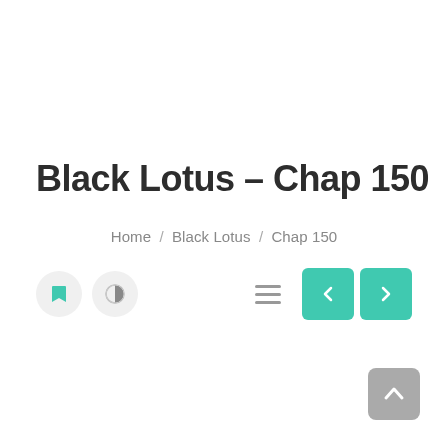Black Lotus – Chap 150
Home / Black Lotus / Chap 150
[Figure (screenshot): UI controls bar with bookmark icon button, contrast/theme icon button, hamburger menu icon, and two teal navigation arrow buttons (left and right)]
[Figure (screenshot): Teal scroll-to-top button with upward arrow in bottom-right corner]